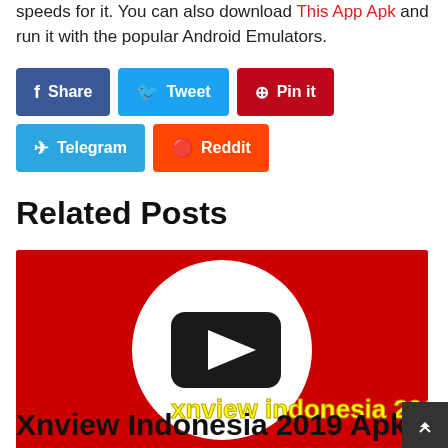speeds for it. You can also download This App Apk and run it with the popular Android Emulators.
Share
Tweet
Pin it
Telegram
Reddit
Related Posts
[Figure (screenshot): Thumbnail image with red background, white circle with YouTube-style play button, and yellow bold text reading 'xnview indonesia 2019 apk']
Xnview Indonesia 2019 Apk